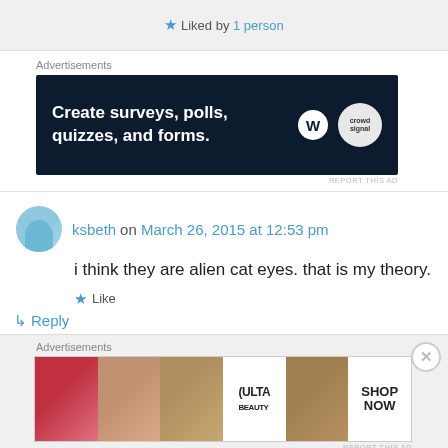★ Liked by 1 person
Advertisements
[Figure (illustration): Dark navy advertisement banner: 'Create surveys, polls, quizzes, and forms.' with WordPress logo and Crowdsignal logo]
REPORT THIS AD
ksbeth on March 26, 2015 at 12:53 pm
i think they are alien cat eyes. that is my theory.
★ Like
↳ Reply
Advertisements
[Figure (illustration): Beauty advertisement banner showing lips, makeup brush, eye, ULTA beauty logo, eyebrows, and SHOP NOW button]
REPORT THIS AD